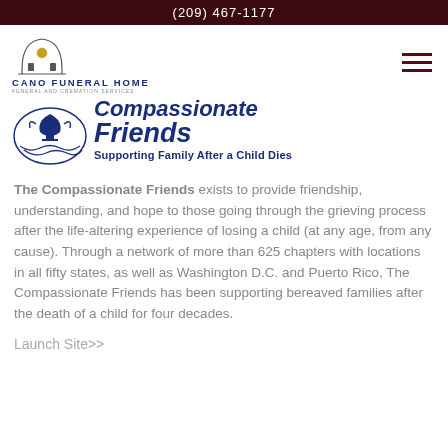(209) 467-1177
[Figure (logo): Cano Funeral Home logo with arch graphic and text 'CANO FUNERAL HOME - FUNERAL AND CREMATION SERVICES']
[Figure (logo): The Compassionate Friends logo — circular emblem with dove/chalice graphic in blue, with italic bold text 'Compassionate Friends' and subtitle 'Supporting Family After a Child Dies']
The Compassionate Friends exists to provide friendship, understanding, and hope to those going through the grieving process after the life-altering experience of losing a child (at any age, from any cause). Through a network of more than 625 chapters with locations in all fifty states, as well as Washington D.C. and Puerto Rico, The Compassionate Friends has been supporting bereaved families after the death of a child for four decades.
Launch Site>>